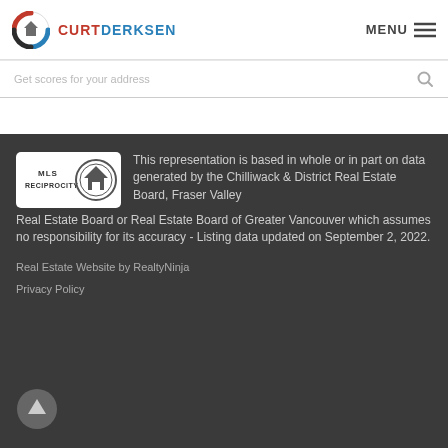CURTDERKSEN  MENU
Get scores for your address
[Figure (logo): MLS Reciprocity logo badge — circular house icon with 'MLS RECIPROCITY' text]
This representation is based in whole or in part on data generated by the Chilliwack & District Real Estate Board, Fraser Valley Real Estate Board or Real Estate Board of Greater Vancouver which assumes no responsibility for its accuracy - Listing data updated on September 2, 2022.
Real Estate Website by RealtyNinja
Privacy Policy